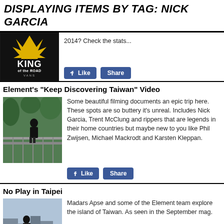DISPLAYING ITEMS BY TAG: NICK GARCIA
[Figure (photo): King of the Road Thrasher Vans Team Profiles logo on black background]
2014? Check the stats...
Element's "Keep Discovering Taiwan" Video
[Figure (photo): Skateboarder performing a trick on a rail at a skate spot in Taiwan]
Some beautiful filming documents an epic trip here. These spots are so buttery it's unreal. Includes Nick Garcia, Trent McClung and rippers that are legends in their home countries but maybe new to you like Phil Zwijsen, Michael Mackrodt and Karsten Kleppan.
No Play in Taipei
[Figure (photo): Skateboarder skating on a ledge in Taipei with cityscape behind]
Madars Apse and some of the Element team explore the island of Taiwan. As seen in the September mag.